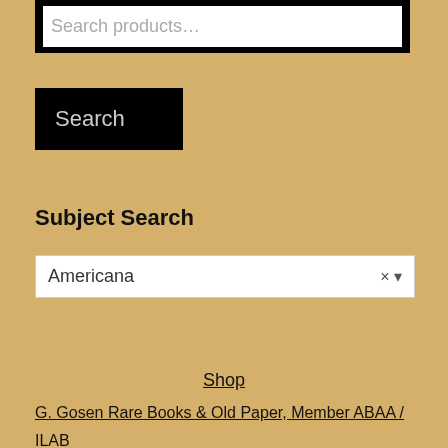Search products…
Search
Subject Search
Americana
Shop
G. Gosen Rare Books & Old Paper, Member ABAA /
ILAB